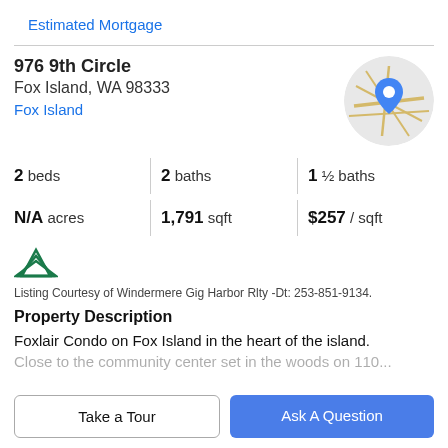Estimated Mortgage
976 9th Circle
Fox Island, WA 98333
Fox Island
[Figure (map): Circular map thumbnail showing road map with blue location pin marker]
2 beds | 2 baths | 1 ½ baths
N/A acres | 1,791 sqft | $257 / sqft
[Figure (logo): Windermere real estate logo - green pine tree style icon]
Listing Courtesy of Windermere Gig Harbor Rlty -Dt: 253-851-9134.
Property Description
Foxlair Condo on Fox Island in the heart of the island.
Close to the community center set in the woods on 110...
Take a Tour
Ask A Question